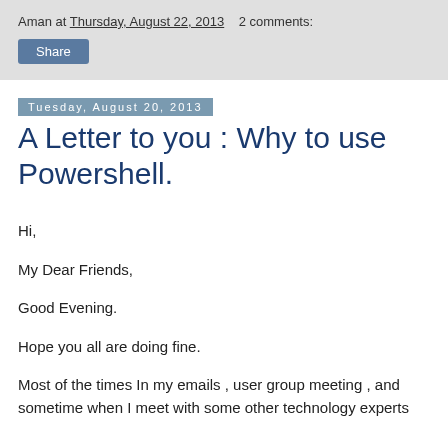Aman at Thursday, August 22, 2013    2 comments:
Share
Tuesday, August 20, 2013
A Letter to you : Why to use Powershell.
Hi,
My Dear Friends,
Good Evening.
Hope you all are doing fine.
Most of the times In my emails , user group meeting , and sometime when I meet with some other technology experts